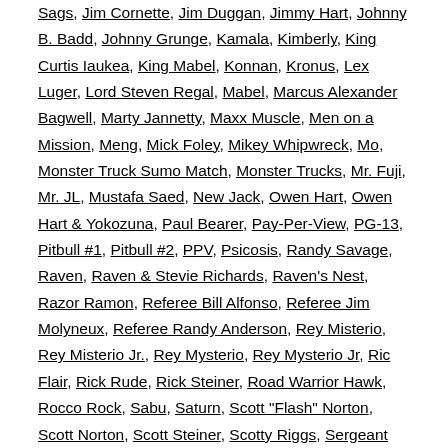Sags, Jim Cornette, Jim Duggan, Jimmy Hart, Johnny B. Badd, Johnny Grunge, Kamala, Kimberly, King Curtis Iaukea, King Mabel, Konnan, Kronus, Lex Luger, Lord Steven Regal, Mabel, Marcus Alexander Bagwell, Marty Jannetty, Maxx Muscle, Men on a Mission, Meng, Mick Foley, Mikey Whipwreck, Mo, Monster Truck Sumo Match, Monster Trucks, Mr. Fuji, Mr. JL, Mustafa Saed, New Jack, Owen Hart, Owen Hart & Yokozuna, Paul Bearer, Pay-Per-View, PG-13, Pitbull #1, Pitbull #2, PPV, Psicosis, Randy Savage, Raven, Raven & Stevie Richards, Raven's Nest, Razor Ramon, Referee Bill Alfonso, Referee Jim Molyneux, Referee Randy Anderson, Rey Misterio, Rey Misterio Jr., Rey Mysterio, Rey Mysterio Jr, Ric Flair, Rick Rude, Rick Steiner, Road Warrior Hawk, Rocco Rock, Sabu, Saturn, Scott "Flash" Norton, Scott Norton, Scott Steiner, Scotty Riggs, Sergeant Craig "The Pitbull" Pittman, Sgt. Craig Pittman, Shane Douglas, Shawn Michaels, Sign Guy Dudley, Sir Mo, Sister